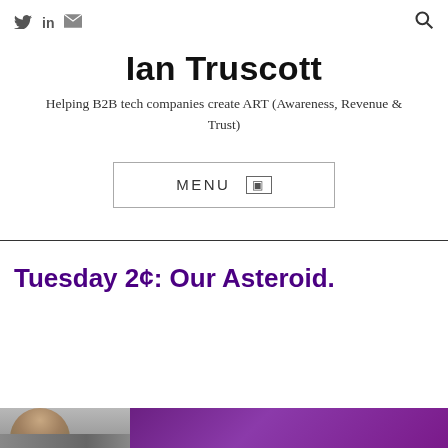Twitter LinkedIn Email icons; Search icon
Ian Truscott
Helping B2B tech companies create ART (Awareness, Revenue & Trust)
MENU
Tuesday 2¢: Our Asteroid.
[Figure (photo): Partial banner image showing a person's face on the left and purple gradient on the right]